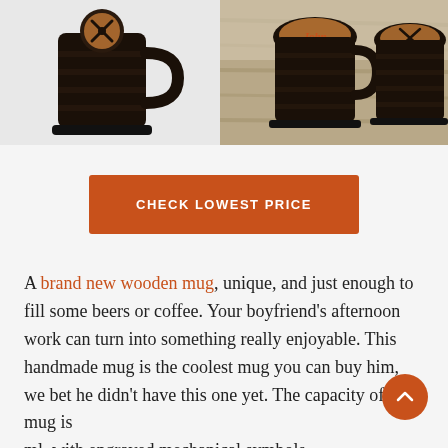[Figure (photo): Two photos of dark wooden beer mugs with engraved mechanical symbol lids. Left photo shows a single mug on white background. Right photo shows two mugs labeled 'John' on a wooden surface outdoors.]
CHECK LOWEST PRICE
A brand new wooden mug, unique, and just enough to fill some beers or coffee. Your boyfriend’s afternoon work can turn into something really enjoyable. This handmade mug is the coolest mug you can buy him, we bet he didn’t have this one yet. The capacity of this mug is ml, with engraved mechanical symbols.